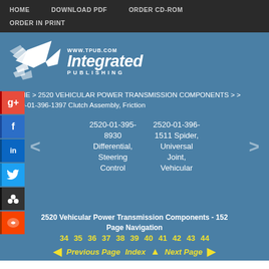HOME   DOWNLOAD PDF   ORDER CD-ROM   ORDER IN PRINT
[Figure (logo): Integrated Publishing logo with stylized bird/lightning bolt graphic and text 'www.tpub.com Integrated PUBLISHING']
HOME > 2520 VEHICULAR POWER TRANSMISSION COMPONENTS > > 2520-01-396-1397 Clutch Assembly, Friction
2520-01-395-8930 Differential, Steering Control
2520-01-396-1511 Spider, Universal Joint, Vehicular
2520 Vehicular Power Transmission Components - 152   Page Navigation   34 35 36 37 38 39 40 41 42 43 44   Previous Page  Index  Next Page